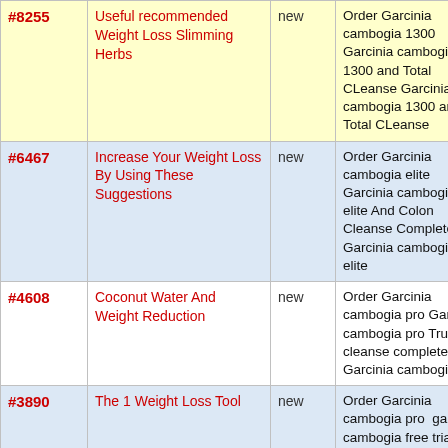| # | Title | Status | Description | Extra |
| --- | --- | --- | --- | --- |
| #8255 | Useful recommended Weight Loss Slimming Herbs | new | Order Garcinia cambogia 1300 Garcinia cambogia 1300 and Total CLeanse Garcinia cambogia 1300 and Total CLeanse | some |
| #6467 | Increase Your Weight Loss By Using These Suggestions | new | Order Garcinia cambogia elite Garcinia cambogia elite And Colon Cleanse Complete Garcinia cambogia elite | some |
| #4608 | Coconut Water And Weight Reduction | new | Order Garcinia cambogia pro Garcinia cambogia pro True cleanse complete and Garcinia cambogia pro | some |
| #3890 | The 1 Weight Loss Tool | new | Order Garcinia cambogia pro  garcinia cambogia free trial True cleanse complete and Garcinia cambogia pro | some |
| #3713 | Make Friends With The Scale - Try This Advice! | new | Order Garcinia today Garcinia cambogia today and True cleanse complete Garcinia Today | some |
| #7237 | 3 Of The Best Foods To shed Weight | new | Order Goji Actives Goji Actives And Garcinia cambogia select Goji Actives And Garcinia cambogia select | some |